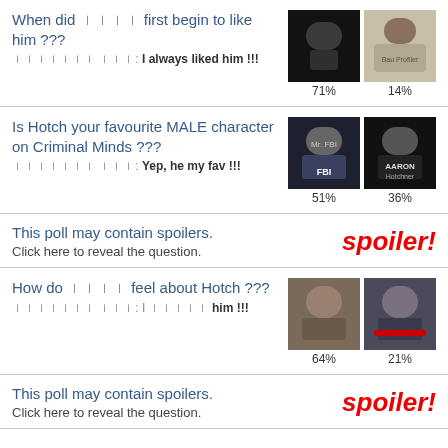When did ꁒꁒꁒꁒ first begin to like him ??? ꀕꀕꀕꀕꀕꀕꀕ ꀕꀕꀕ: I always liked him !!!
[Figure (photo): Two small photos with percentages: 71% and 14%]
Is Hotch your favourite MALE character on Criminal Minds ??? ꀕꀕꀕꀕꀕꀕꀕ ꀕꀕꀕ: Yep, he my fav !!!
[Figure (photo): Two small photos labeled Mr. FBI and Aaron Hotchner with percentages: 51% and 36%]
This poll may contain spoilers. Click here to reveal the question.
[Figure (other): spoiler! badge in red italic text]
How do ꁒꁒꁒꁒ feel about Hotch ??? ꀕꀕꀕꀕꀕꀕꀕ ꀕꀕꀕ: I ꁒꁒꁒꁒꁒ him !!!
[Figure (photo): Two small photos with percentages: 64% and 21%]
This poll may contain spoilers. Click here to reveal the question.
[Figure (other): spoiler! badge in red italic text]